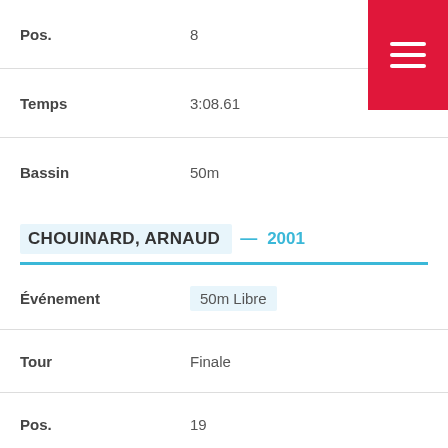| Field | Value |
| --- | --- |
| Pos. | 8 |
| Temps | 3:08.61 |
| Bassin | 50m |
CHOUINARD, ARNAUD — 2001
| Field | Value |
| --- | --- |
| Événement | 50m Libre |
| Tour | Finale |
| Pos. | 19 |
| Temps | 27.58 |
| Bassin | 50... |